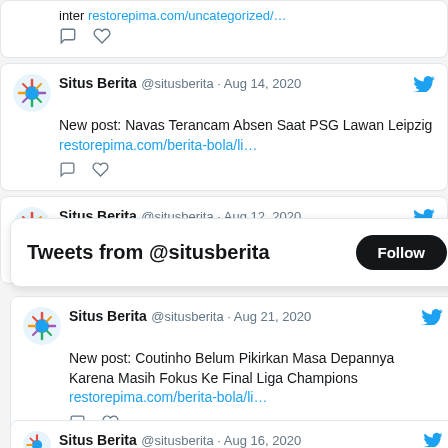[Figure (screenshot): Twitter/social media feed screenshot showing tweets from @situsberita account with posts about football news in Indonesian language, and a 'Tweets from @situsberita Follow' widget overlay.]
inter restorepima.com/uncategorized/...
Situs Berita @situsberita · Aug 14, 2020
New post: Navas Terancam Absen Saat PSG Lawan Leipzig restorepima.com/berita-bola/li...
Situs Berita @situsberita · Aug 12, 2020
Tweets from @situsberita
Situs Berita @situsberita · Aug 21, 2020
New post: Coutinho Belum Pikirkan Masa Depannya Karena Masih Fokus Ke Final Liga Champions restorepima.com/berita-bola/li...
Situs Berita @situsberita · Aug 16, 2020